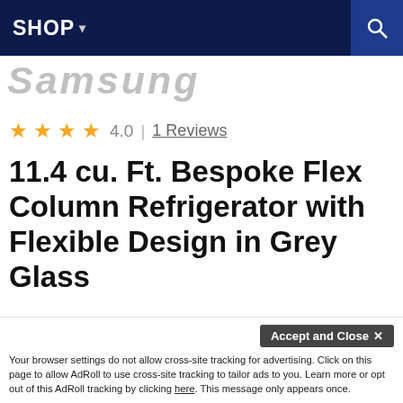SHOP ▾
[Figure (logo): Samsung logo, partially visible, grey italic text]
★★★★ 4.0 | 1 Reviews
11.4 cu. Ft. Bespoke Flex Column Refrigerator with Flexible Design in Grey Glass
Samsung RZ11T747431
Welcome! My name is Dan Nantais, owner of Milcarsky's. How can I assist you today?
Accept and Close ✕
Your browser settings do not allow cross-site tracking for advertising. Click on this page to allow AdRoll to use cross-site tracking to tailor ads to you. Learn more or opt out of this AdRoll tracking by clicking here. This message only appears once.